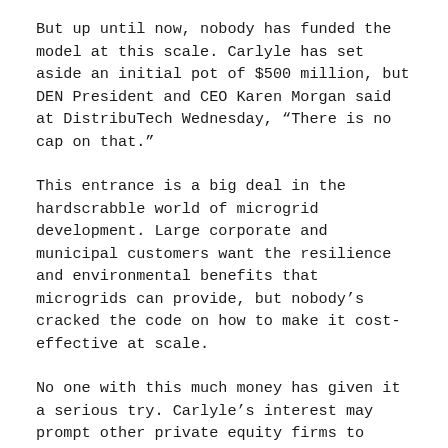But up until now, nobody has funded the model at this scale. Carlyle has set aside an initial pot of $500 million, but DEN President and CEO Karen Morgan said at DistribuTech Wednesday, “There is no cap on that.”
This entrance is a big deal in the hardscrabble world of microgrid development. Large corporate and municipal customers want the resilience and environmental benefits that microgrids can provide, but nobody’s cracked the code on how to make it cost-effective at scale.
No one with this much money has given it a serious try. Carlyle’s interest may prompt other private equity firms to consider microgrids as an investment vehicle.